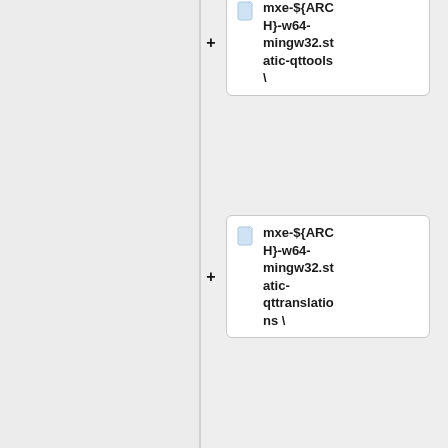[Figure (flowchart): Flowchart showing a vertical sequence of package nodes connected by plus signs. Each node is a card with a document icon and contains text: 'mxe-${ARCH}-w64-mingw32.static-qttools \', 'mxe-${ARCH}-w64-mingw32.static-qttranslations \', 'mxe-${ARCH}-w64-mingw32.static-boost \', 'mxe-${ARCH}-w64-mingw32.static-' (partially visible). The left half of the page is a gray empty area. A vertical line divides the page.]